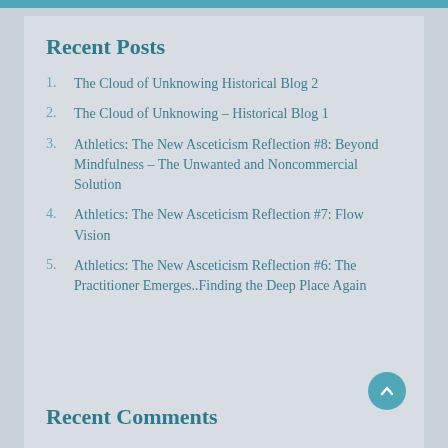Recent Posts
The Cloud of Unknowing Historical Blog 2
The Cloud of Unknowing - Historical Blog 1
Athletics: The New Asceticism Reflection #8: Beyond Mindfulness - The Unwanted and Noncommercial Solution
Athletics: The New Asceticism Reflection #7: Flow Vision
Athletics: The New Asceticism Reflection #6: The Practitioner Emerges..Finding the Deep Place Again
Recent Comments